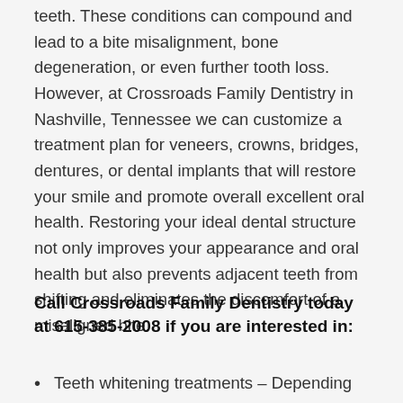teeth. These conditions can compound and lead to a bite misalignment, bone degeneration, or even further tooth loss. However, at Crossroads Family Dentistry in Nashville, Tennessee we can customize a treatment plan for veneers, crowns, bridges, dentures, or dental implants that will restore your smile and promote overall excellent oral health. Restoring your ideal dental structure not only improves your appearance and oral health but also prevents adjacent teeth from shifting and eliminates the discomfort of a misaligned bite.
Call Crossroads Family Dentistry today at 615-385-2008 if you are interested in:
Teeth whitening treatments – Depending on